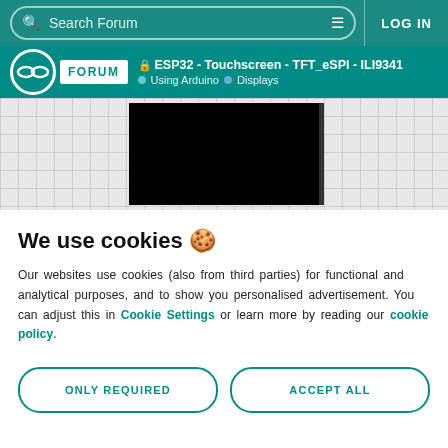Search Forum | LOG IN
ESP32 - Touchscreen - TFT_eSPI - ILI9341 | Using Arduino > Displays
[Figure (photo): A black rectangle on a grid-patterned background, likely a screenshot of a display showing a blank/black screen]
We use cookies 🍪
Our websites use cookies (also from third parties) for functional and analytical purposes, and to show you personalised advertisement. You can adjust this in Cookie Settings or learn more by reading our cookie policy.
ONLY REQUIRED
ACCEPT ALL